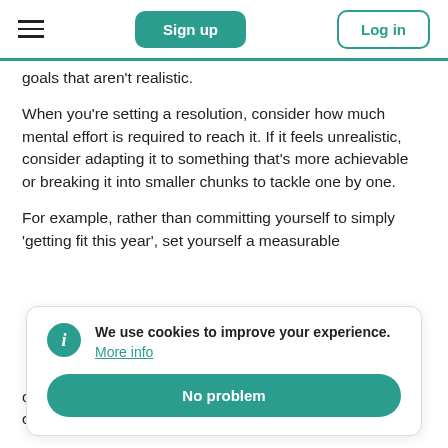Sign up | Log in
goals that aren't realistic.
When you’re setting a resolution, consider how much mental effort is required to reach it. If it feels unrealistic, consider adapting it to something that’s more achievable or breaking it into smaller chunks to tackle one by one.
For example, rather than committing yourself to simply ‘getting fit this year’, set yourself a measurable
We use cookies to improve your experience. More info
No problem
on it and holding yourself to it. Are you paying interest on your current credit card balance? Then a balance